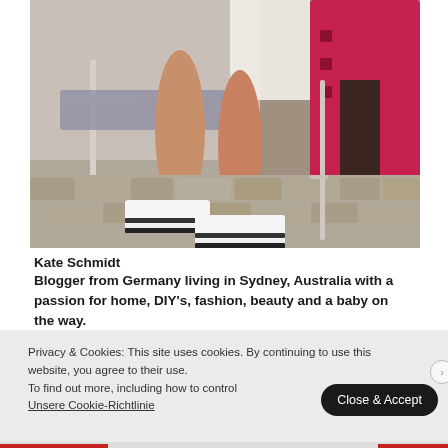[Figure (photo): Fashion photo showing a person's legs seated on a metal chair on a cobblestone street, wearing white platform sneakers with black stripes, with a white lace dress and a bright pink/red coat draped over the chair]
Kate Schmidt
Blogger from Germany living in Sydney, Australia with a passion for home, DIY's, fashion, beauty and a baby on the way.
Privacy & Cookies: This site uses cookies. By continuing to use this website, you agree to their use.
To find out more, including how to control
Unsere Cookie-Richtlinie